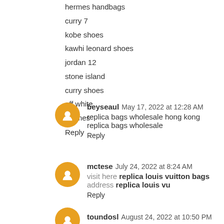hermes handbags
curry 7
kobe shoes
kawhi leonard shoes
jordan 12
stone island
curry shoes
off white
hermes
Reply
beyseaul  May 17, 2022 at 12:28 AM
replica bags wholesale hong kong replica bags wholesale
Reply
mctese  July 24, 2022 at 8:24 AM
visit here replica louis vuitton bags address replica louis vu
Reply
toundosl  August 24, 2022 at 10:50 PM